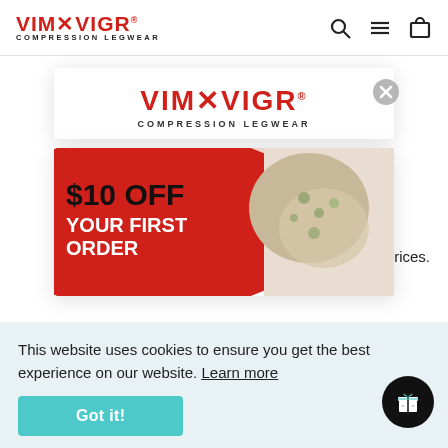VIM8VIGR COMPRESSION LEGWEAR
[Figure (logo): VIM8VIGR Compression Legwear logo in modal popup, red text]
[Figure (illustration): Promotional banner: $10 OFF YOUR FIRST ORDER on red background with person wearing compression socks]
This website uses cookies to ensure you get the best experience on our website. Learn more
[Figure (other): Got it! button (teal/cyan) for cookie consent]
[Figure (other): Gift icon floating action button, black circle, bottom right]